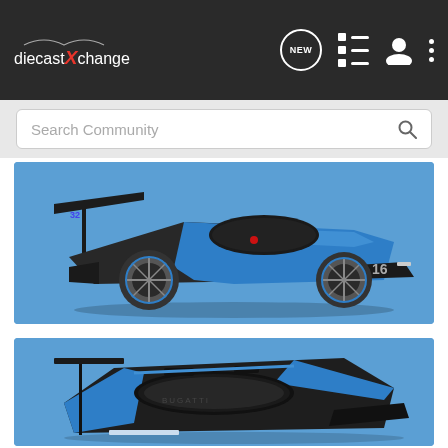diecastXchange — navigation header with logo, NEW button, list icon, user icon, menu icon
Search Community
[Figure (photo): Blue and black Bugatti Vision Gran Turismo diecast model car on blue background, side-front three-quarter view]
[Figure (photo): Blue and black Bugatti Vision Gran Turismo diecast model car on blue background, top-rear three-quarter view]